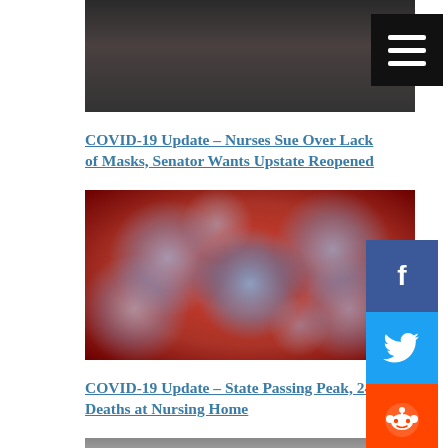[Figure (photo): Two people in suits, one wearing a mask lowered, with flags in background, cropped at top]
[Figure (other): Black hamburger menu icon button on black background]
COVID-19 Update – Nurses Sue Over Lack of Masks, Senator Wants Upstate Reopened
[Figure (photo): Microscopic illustration of red coronavirus particles with blue spike proteins on red background]
COVID-19 Update – State Passing Peak, 24 Deaths at Nursing Home
[Figure (photo): Partially visible photo at bottom of page, person's face cropped]
[Figure (other): Facebook share button, blue square with f icon]
[Figure (other): Twitter share button, light blue square with bird icon]
[Figure (other): Reddit share button, orange square with alien icon]
[Figure (other): Gray circular arrow/next button]